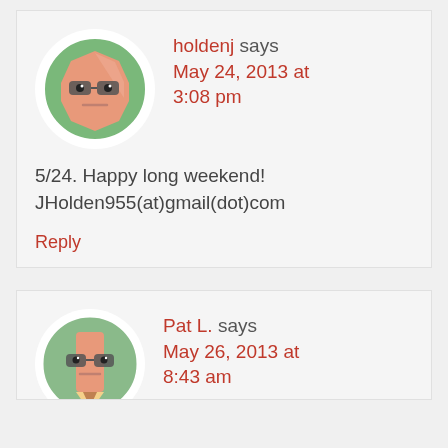[Figure (illustration): Cartoon avatar: a hexagonal-faced character with glasses and a neutral expression, on a green circular background with white border]
holdenj says
May 24, 2013 at
3:08 pm
5/24. Happy long weekend! JHolden955(at)gmail(dot)com
Reply
[Figure (illustration): Cartoon avatar: a pencil-shaped character with glasses, on a green circular background with white border (partially visible)]
Pat L. says
May 26, 2013 at
8:43 am